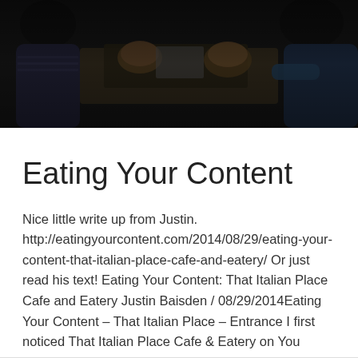[Figure (photo): Dark photo of people sitting at a restaurant table with food on a tray, dimly lit scene]
Eating Your Content
Nice little write up from Justin. http://eatingyourcontent.com/2014/08/29/eating-your-content-that-italian-place-cafe-and-eatery/ Or just read his text! Eating Your Content: That Italian Place Cafe and Eatery Justin Baisden / 08/29/2014Eating Your Content – That Italian Place – Entrance I first noticed That Italian Place Cafe & Eatery on You Gotta Eat Here a few months ago. I was very surprised …